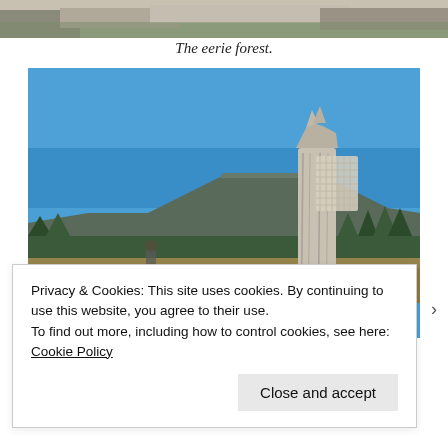[Figure (photo): Top cropped portion of a forest/rocky landscape photo, partially visible at top of page]
The eerie forest.
[Figure (photo): Outdoor landscape photo with bright blue sky, a weathered dead tree stump/post in the foreground right, a flat-topped mountain mesa in the middle distance, and green forest treeline. Sunny day.]
Privacy & Cookies: This site uses cookies. By continuing to use this website, you agree to their use.
To find out more, including how to control cookies, see here: Cookie Policy
Close and accept